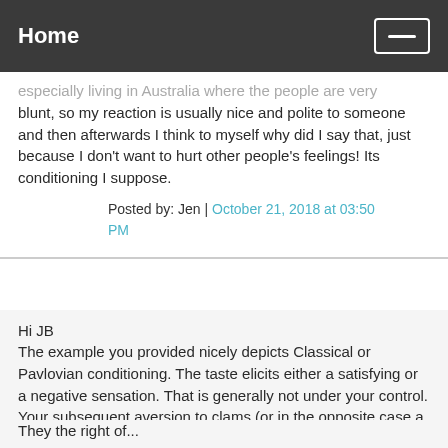Home
especially living in Australia where the people are very blunt, so my reaction is usually nice and polite to someone and then afterwards I think to myself why did I say that, just because I don't want to hurt other people's feelings! Its conditioning I suppose.
Posted by: Jen | October 21, 2018 at 03:50 PM
Hi JB
The example you provided nicely depicts Classical or Pavlovian conditioning. The taste elicits either a satisfying or a negative sensation. That is generally not under your control. Your subsequent aversion to clams (or in the opposite case a mouth watering response upon seeing food associated with satiation of hunger) also is not under your control. These happen largely without your volition, at the autonomic level. And they become unconscious conditioning you may not be aware of.
They the right of...